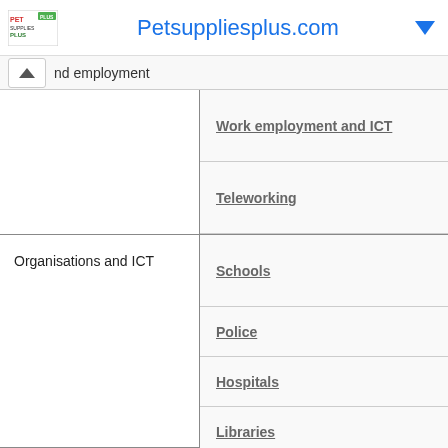Petsuppliesplus.com
nd employment
Work employment and ICT
Teleworking
Organisations and ICT
Schools
Police
Hospitals
Libraries
Cinemas